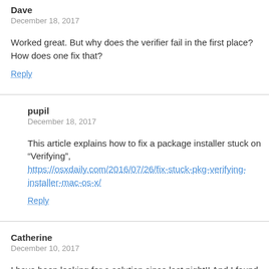Dave
December 18, 2017
Worked great. But why does the verifier fail in the first place? How does one fix that?
Reply
pupil
December 18, 2017
This article explains how to fix a package installer stuck on “Verifying”, https://osxdaily.com/2016/07/26/fix-stuck-pkg-verifying-installer-mac-os-x/
Reply
Catherine
December 10, 2017
I have been looking for a solution since last night!! And I found it here. YOU ARE AWESOME! THANS YOU!!
Reply